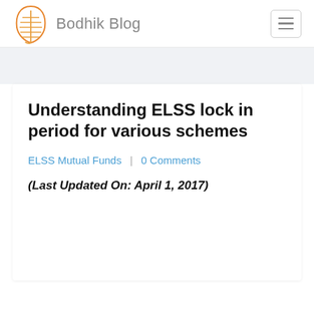Bodhik Blog
Understanding ELSS lock in period for various schemes
ELSS Mutual Funds | 0 Comments
(Last Updated On: April 1, 2017)